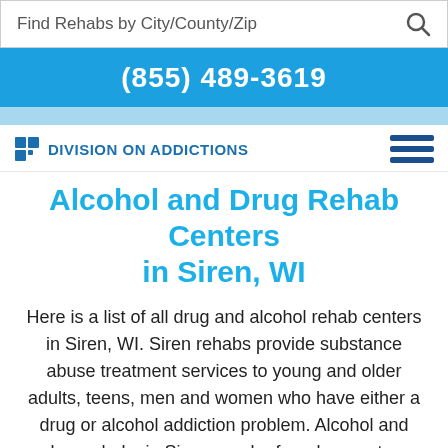Find Rehabs by City/County/Zip
(855) 489-3619
Division On Addictions
Alcohol and Drug Rehab Centers in Siren, WI
Here is a list of all drug and alcohol rehab centers in Siren, WI. Siren rehabs provide substance abuse treatment services to young and older adults, teens, men and women who have either a drug or alcohol addiction problem. Alcohol and drug rehabs in Siren may be free, low-cost or luxury.